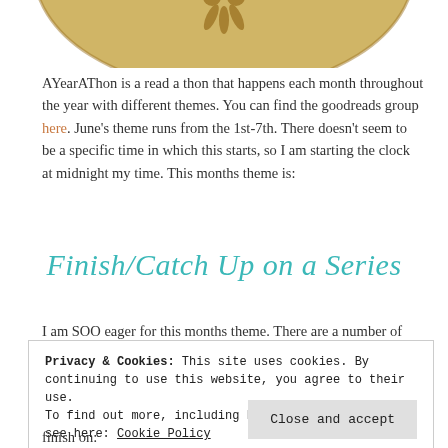[Figure (illustration): Partial view of a gold/tan circular medallion or badge with a decorative floral motif in darker gold at the top of the page.]
AYearAThon is a read a thon that happens each month throughout the year with different themes. You can find the goodreads group here. June's theme runs from the 1st-7th. There doesn't seem to be a specific time in which this starts, so I am starting the clock at midnight my time. This months theme is:
Finish/Catch Up on a Series
I am SOO eager for this months theme. There are a number of
Privacy & Cookies: This site uses cookies. By continuing to use this website, you agree to their use.
To find out more, including how to control cookies, see here: Cookie Policy
Close and accept
finish on: